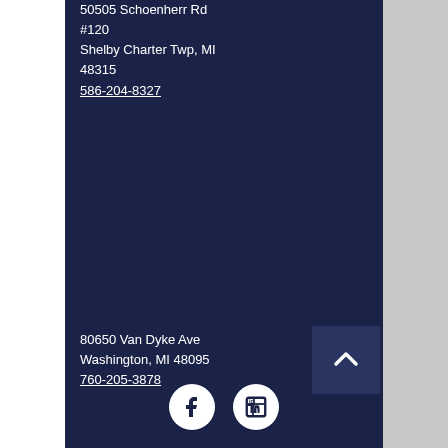50505 Schoenherr Rd #120 Shelby Charter Twp, MI 48315
586-204-8327
80650 Van Dyke Ave Washington, MI 48095
760-205-3878
[Figure (infographic): Back to top arrow button (chevron up icon) on dark blue background]
[Figure (infographic): Facebook and LinkedIn social media icons (white circles with logos)]